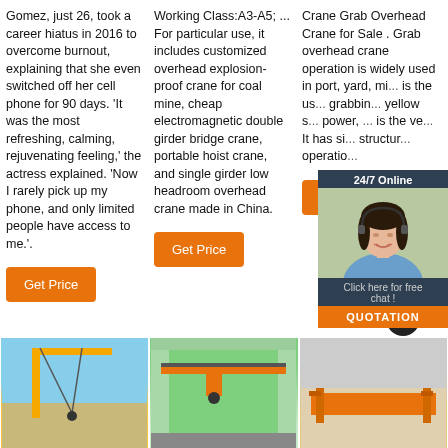Gomez, just 26, took a career hiatus in 2016 to overcome burnout, explaining that she even switched off her cell phone for 90 days. 'It was the most refreshing, calming, rejuvenating feeling,' the actress explained. 'Now I rarely pick up my phone, and only limited people have access to me.'.
Get Price
Working Class:A3-A5; ... For particular use, it includes customized overhead explosion-proof crane for coal mine, cheap electromagnetic double girder bridge crane, portable hoist crane, and single girder low headroom overhead crane made in China.
Get Price
Crane Grab Overhead Crane for Sale . Grab overhead crane operation is widely used in port, yard, m... is the u... grabbin... yellow s... power, ... is the ve... It has si... structur... operatio...
Get Price
[Figure (photo): Photo of a yellow crane structure against blue sky]
[Figure (photo): Interior photo of a green overhead bridge crane in an industrial building]
[Figure (photo): Photo of orange crane beam/girder structure]
[Figure (infographic): 24/7 Online chat widget with a woman wearing a headset, dark navy background, orange QUOTATION button]